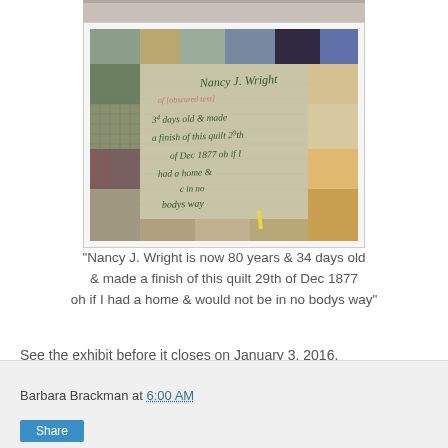[Figure (photo): Photograph of a quilt label with handwritten text reading: Nancy J. Wright, 80 years & 34 days old & made a finish of this quilt 29th of Dec 1877 oh if I had a home & would not be in no bodys way. The quilt is made of colorful patchwork fabric surrounding the written label.]
"Nancy J. Wright is now 80 years & 34 days old & made a finish of this quilt 29th of Dec 1877 oh if I had a home & would not be in no bodys way"
See the exhibit before it closes on January 3, 2016.
Barbara Brackman at 6:00 AM